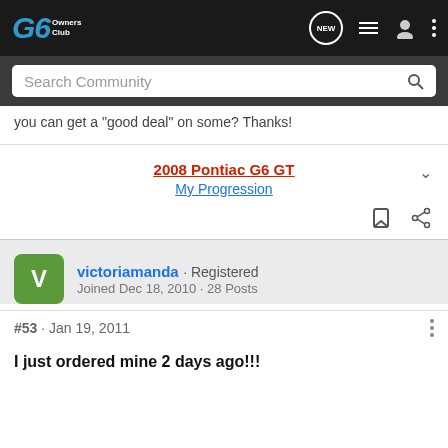[Figure (screenshot): G6 Owners Club website navigation bar with logo, NEW button, list icon, user icon, and dots menu]
[Figure (screenshot): Search Community input bar with magnifying glass icon]
you can get a "good deal" on some? Thanks!
2008 Pontiac G6 GT
My Progression
victoriamanda · Registered
Joined Dec 18, 2010 · 28 Posts
#53 · Jan 19, 2011
I just ordered mine 2 days ago!!!